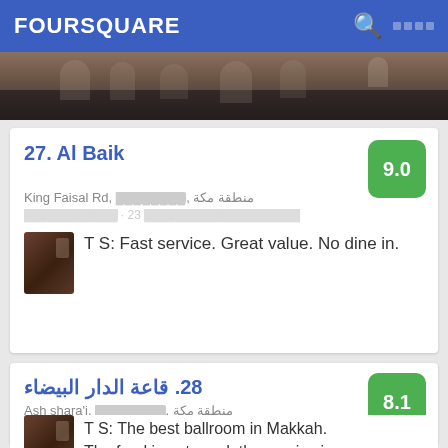FOURSQUARE
[Figure (photo): Crowded indoor scene photo strip at top of listing]
27. Al Baik
(البيك)
King Faisal Rd, ████████, منطقة مكة
████████████ · 23 ████████████████████
T S: Fast service. Great value. No dine in.
28. قاعة الدار البيضاء
Ash shara'i, ████████, منطقة مكة
████████████████ · 2 ████████████████████
T S: The best ballroom in Makkah. The food is not good, the service is